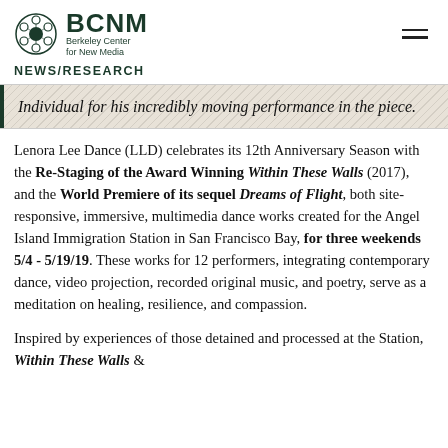BCNM Berkeley Center for New Media
NEWS/RESEARCH
Individual for his incredibly moving performance in the piece.
Lenora Lee Dance (LLD) celebrates its 12th Anniversary Season with the Re-Staging of the Award Winning Within These Walls (2017), and the World Premiere of its sequel Dreams of Flight, both site-responsive, immersive, multimedia dance works created for the Angel Island Immigration Station in San Francisco Bay, for three weekends 5/4 - 5/19/19. These works for 12 performers, integrating contemporary dance, video projection, recorded original music, and poetry, serve as a meditation on healing, resilience, and compassion.
Inspired by experiences of those detained and processed at the Station, Within These Walls &